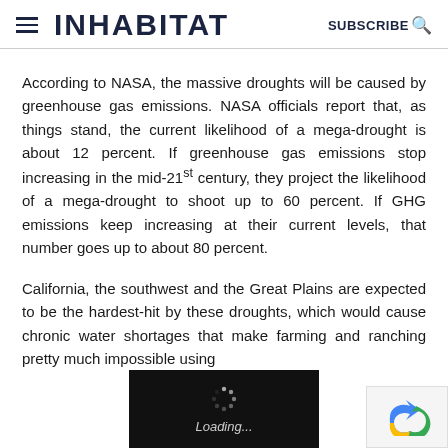INHABITAT  SUBSCRIBE
According to NASA, the massive droughts will be caused by greenhouse gas emissions. NASA officials report that, as things stand, the current likelihood of a mega-drought is about 12 percent. If greenhouse gas emissions stop increasing in the mid-21st century, they project the likelihood of a mega-drought to shoot up to 60 percent. If GHG emissions keep increasing at their current levels, that number goes up to about 80 percent.
California, the southwest and the Great Plains are expected to be the hardest-hit by these droughts, which would cause chronic water shortages that make farming and ranching pretty much impossible using
[Figure (other): Loading spinner overlay with black background showing a spinner icon and 'Loading...' text in italic]